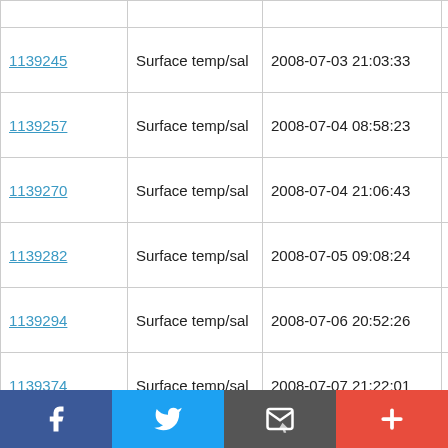| ID | Type | Datetime | Lat |
| --- | --- | --- | --- |
| 1139245 | Surface temp/sal | 2008-07-03 21:03:33 | 53.33 N |
| 1139257 | Surface temp/sal | 2008-07-04 08:58:23 | 53.336 N |
| 1139270 | Surface temp/sal | 2008-07-04 21:06:43 | 53.33 N |
| 1139282 | Surface temp/sal | 2008-07-05 09:08:24 | 53.327 N |
| 1139294 | Surface temp/sal | 2008-07-06 20:52:26 | 53.329 N |
| 1139374 | Surface temp/sal | 2008-07-07 21:22:01 | 53.336 N |
| 1139491 | Surface temp/sal | 2008-07-08 09:14:02 | 53.329 N |
| 1139614 | Surface temp/sal | 2008-07-08 21:25:02 | 53.337 N |
| 1139743 | Surface temp/sal | 2008-07-09 08:47:32 | 53.329 N |
| 1139860 | Surface temp/sal | 2008-07-09 21:28:23 | 53.336 N |
Facebook Twitter Email Plus